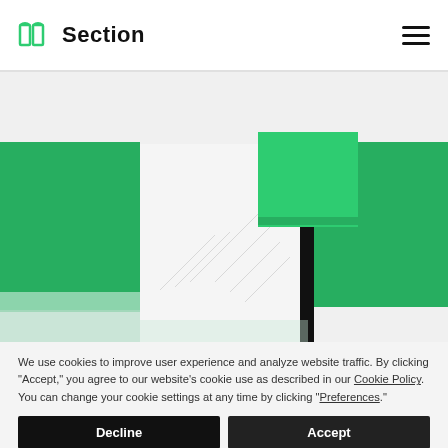Section
[Figure (illustration): Abstract geometric illustration with green rectangles and shapes on a light gray background, showing a stylized bar chart / pin graphic with a black vertical bar and a teal/green square on top, plus green rectangular blocks on the left and right sides.]
We use cookies to improve user experience and analyze website traffic. By clicking “Accept,” you agree to our website’s cookie use as described in our Cookie Policy. You can change your cookie settings at any time by clicking “Preferences.”
Decline
Accept
Preferences
Server-Side Rendering a Single Page App on